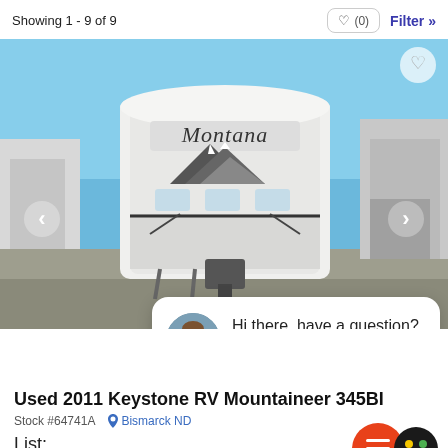Showing 1 - 9 of 9
[Figure (photo): Front view of a white Keystone Montana fifth-wheel RV parked at a dealership lot under a blue sky. The RV has a mountain graphic and 'Montana' logo on the front.]
Hi there, have a question? Text us here.
Used 2011 Keystone RV Mountaineer 345BI
Stock #64741A  Bismarck ND
List:  $24,5...